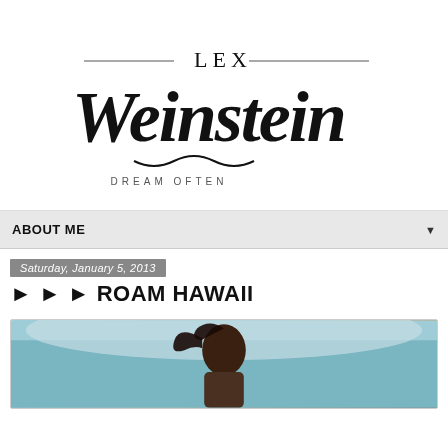[Figure (logo): Lex Weinstein logo with script lettering and tagline 'DREAM OFTEN']
ABOUT ME
Saturday, January 5, 2013
► ► ► ROAM HAWAII
[Figure (photo): Person with hair blowing in wind, outdoor photo]